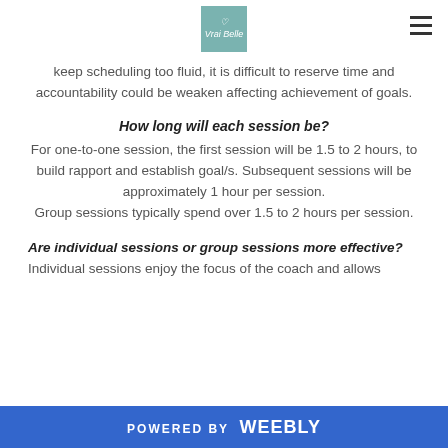Vrai Belle logo and navigation
keep scheduling too fluid, it is difficult to reserve time and accountability could be weaken affecting achievement of goals.
How long will each session be?
For one-to-one session, the first session will be 1.5 to 2 hours, to build rapport and establish goal/s. Subsequent sessions will be approximately 1 hour per session. Group sessions typically spend over 1.5 to 2 hours per session.
Are individual sessions or group sessions more effective?
Individual sessions enjoy the focus of the coach and allows
POWERED BY weebly